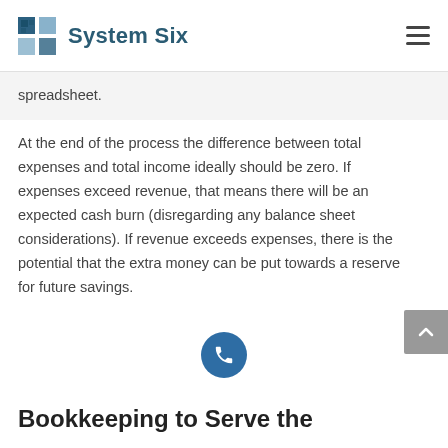System Six
spreadsheet.
At the end of the process the difference between total expenses and total income ideally should be zero. If expenses exceed revenue, that means there will be an expected cash burn (disregarding any balance sheet considerations). If revenue exceeds expenses, there is the potential that the extra money can be put towards a reserve for future savings.
Bookkeeping to Serve the